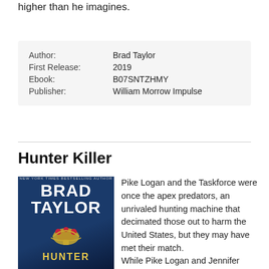higher than he imagines.
| Author: | Brad Taylor |
| First Release: | 2019 |
| Ebook: | B07SNTZHMY |
| Publisher: | William Morrow Impulse |
Hunter Killer
[Figure (photo): Book cover of Hunter Killer by Brad Taylor. Dark blue textured background with author name BRAD TAYLOR in large white letters, an eagle emblem in the middle, and HUNTER at the bottom in gold/yellow letters. Top reads NEW YORK TIMES BESTSELLING AUTHOR.]
Pike Logan and the Taskforce were once the apex predators, an unrivaled hunting machine that decimated those out to harm the United States, but they may have met their match.
While Pike Logan and Jennifer